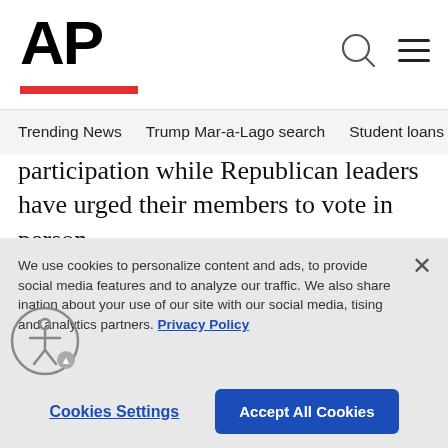AP
Trending News   Trump Mar-a-Lago search   Student loans   U.S.
participation while Republican leaders have urged their members to vote in person.
ADVERTISEMENT
We use cookies to personalize content and ads, to provide social media features and to analyze our traffic. We also share information about your use of our site with our social media, advertising and analytics partners. Privacy Policy
Cookies Settings
Accept All Cookies